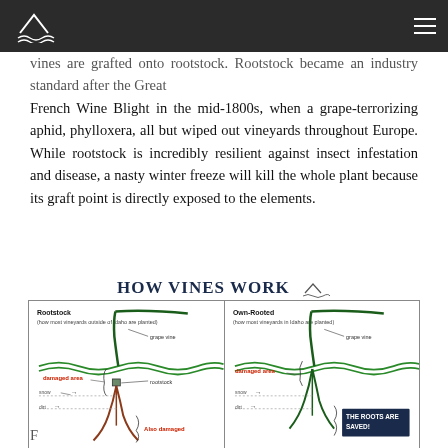French Wine Blight in the mid-1800s, when a grape-terrorizing aphid, phylloxera, all but wiped out vineyards throughout Europe. While rootstock is incredibly resilient against insect infestation and disease, a nasty winter freeze will kill the whole plant because its graft point is directly exposed to the elements.
HOW VINES WORK
[Figure (illustration): Diagram comparing two vine types side by side. Left panel labeled 'Rootstock (how most vineyards outside of Idaho are planted)' shows a vine with a graft point at snow level, with labels: grape vine, rootstock, damaged area (in red), snow, dirt, Also damaged (in red). Right panel labeled 'Own-Rooted (how most vineyards in Idaho are planted)' shows a similar vine with labels: grape vine, damaged area (in red), snow, dirt, and a dark navy box reading 'THE ROOTS ARE SAVED!']